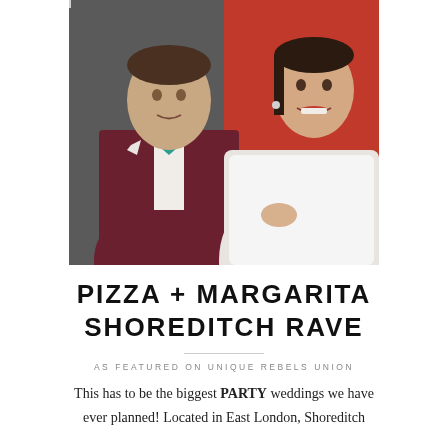[Figure (photo): A couple posing together — a man in a dark burgundy suit with a teal floral bow tie and boutonniere, and a woman in a white fur stole, both smiling, with a red background behind them.]
PIZZA + MARGARITA SHOREDITCH RAVE
AS FEATURED ON UNIQUE REBELS UNION
This has to be the biggest PARTY weddings we have ever planned! Located in East London, Shoreditch